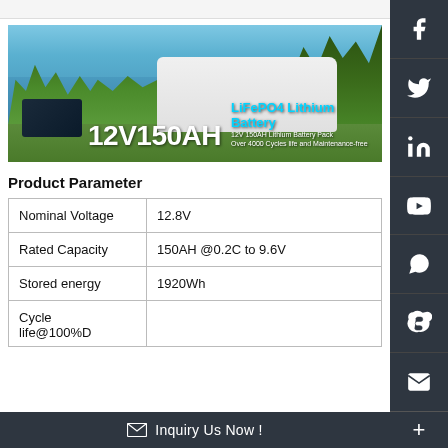[Figure (photo): Product banner image showing a caravan by a lake with trees in background, a black LiFePO4 battery in foreground, overlaid text reading '12V150AH' and 'LiFePO4 Lithium Battery' with subtitles '12V 150AH Lithium Battery Pack' and 'Over 4000 Cycles life and Maintenance-free']
Product Parameter
| Nominal Voltage | 12.8V |
| Rated Capacity | 150AH @0.2C to 9.6V |
| Stored energy | 1920Wh |
| Cycle life@100%D |  |
Inquiry Us Now !